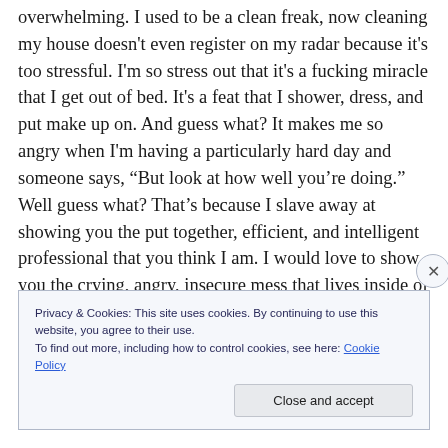overwhelming. I used to be a clean freak, now cleaning my house doesn't even register on my radar because it's too stressful. I'm so stress out that it's a fucking miracle that I get out of bed. It's a feat that I shower, dress, and put make up on. And guess what? It makes me so angry when I'm having a particularly hard day and someone says, “But look at how well you're doing.” Well guess what? That's because I slave away at showing you the put together, efficient, and intelligent professional that you think I am. I would love to show you the crying, angry, insecure mess that lives inside of me, but you don't actually want to see
Privacy & Cookies: This site uses cookies. By continuing to use this website, you agree to their use.
To find out more, including how to control cookies, see here: Cookie Policy